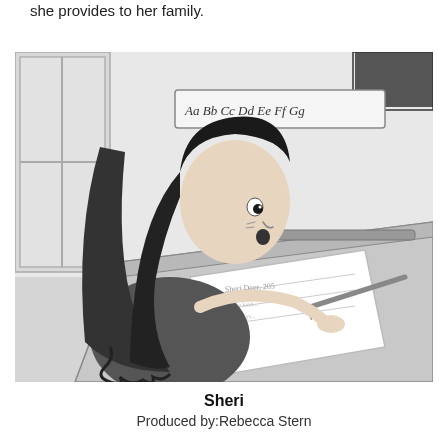she provides to her family.
[Figure (illustration): Black and white illustration of a girl with long dark hair sitting at a school desk, writing on a piece of paper with a pencil. An alphabet banner (Aa Bb Cc Dd Ee Ff Gg) is visible on the wall behind her.]
Sheri
Produced by:Rebecca Stern